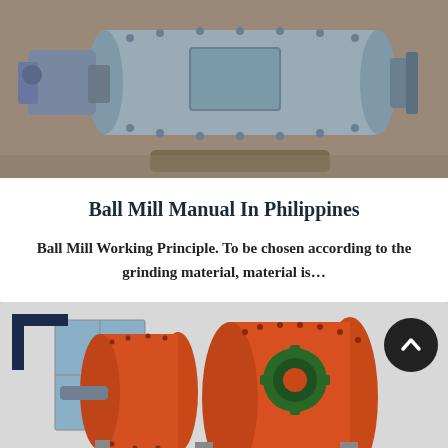[Figure (photo): Industrial ball mill machine — large horizontal cylindrical steel drum with bolted flanges, painted grey/blue, motor attached on left side, sitting on ground outdoors]
Ball Mill Manual In Philippines
Ball Mill Working Principle. To be chosen according to the grinding material, material is…
[Figure (photo): Orange industrial ball mills in a factory setting — large cylindrical orange drums with green gear mechanism, multiple units visible, white building in background]